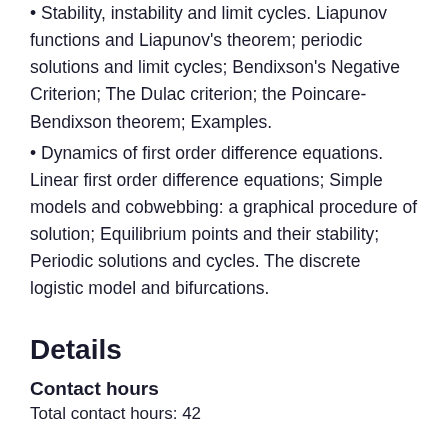• Stability, instability and limit cycles. Liapunov functions and Liapunov's theorem; periodic solutions and limit cycles; Bendixson's Negative Criterion; The Dulac criterion; the Poincare-Bendixson theorem; Examples.
• Dynamics of first order difference equations. Linear first order difference equations; Simple models and cobwebbing: a graphical procedure of solution; Equilibrium points and their stability; Periodic solutions and cycles. The discrete logistic model and bifurcations.
Details
Contact hours
Total contact hours: 42